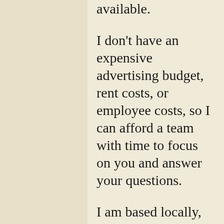available.
I don't have an expensive advertising budget, rent costs, or employee costs, so I can afford a team with time to focus on you and answer your questions.
I am based locally, and to provide the highest level of service I deal directly with my clients. My clients are able to ring the phone on my desk